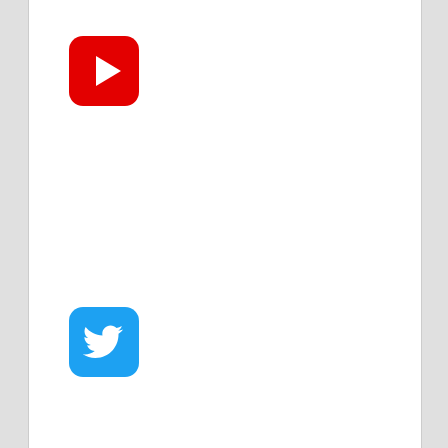[Figure (logo): YouTube logo icon — red rounded square with white play button triangle]
[Figure (logo): Twitter logo icon — blue rounded square with white bird silhouette]
[Figure (map): Google Maps screenshot showing Bitcoin ATM Brooklyn location near Diablo Doughnuts and Terraza Stained, with I-895 highway visible and a location pin marker]